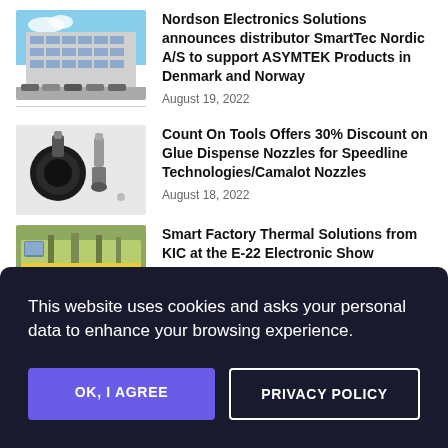[Figure (photo): Exterior photo of a commercial/industrial building with blue sky background and parked cars]
Nordson Electronics Solutions announces distributor SmartTec Nordic A/S to support ASYMTEK Products in Denmark and Norway
August 19, 2022
[Figure (photo): Photo of two glue dispense nozzles on a light gray background]
Count On Tools Offers 30% Discount on Glue Dispense Nozzles for Speedline Technologies/Camalot Nozzles
August 18, 2022
[Figure (photo): Photo of a factory machine with green and yellow coloring]
Smart Factory Thermal Solutions from KIC at the E-22 Electronic Show
This website uses cookies and asks your personal data to enhance your browsing experience.
OK, I AGREE
PRIVACY POLICY